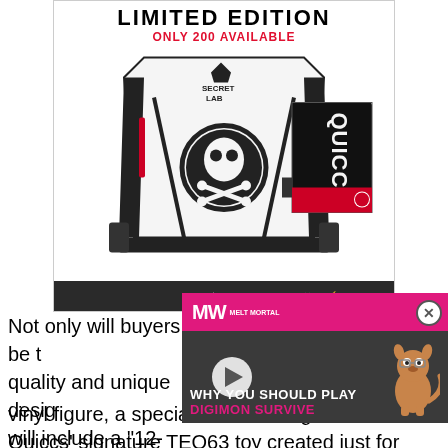[Figure (photo): Limited Edition product image showing a white Secret Lab gaming chair with skull and crossbones logo, 'ONLY 200 AVAILABLE' text in red, and a Quiccs branded accessory item. Footer bar with Secret Lab and Quiccs logos.]
[Figure (screenshot): Video overlay widget with pink MV/MW logo bar at top, dark background with play button, a cartoon creature (Digimon), and text 'WHY YOU SHOULD PLAY DIGIMON SURVIVE'. Close button (X in circle) at top right.]
Not only will buyers be the quality and unique design will include a "12-inch S vinyl figure, a special edition design of Quiccs' signature TEQ63 toy created just for